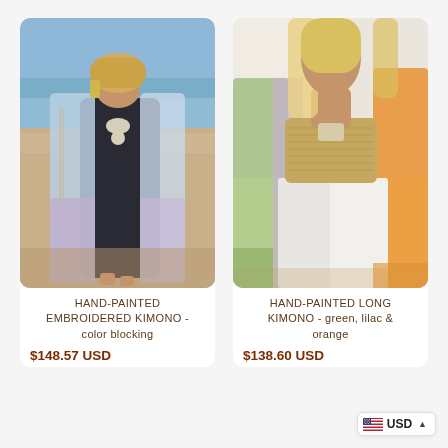[Figure (photo): Woman on beach wearing hand-painted embroidered kimono in blue/lavender color blocking over black swimsuit with jewelry]
HAND-PAINTED EMBROIDERED KIMONO - color blocking
$148.57 USD
[Figure (photo): Woman on beach wearing hand-painted long kimono in green, lilac and orange colors with white wide-leg pants]
HAND-PAINTED LONG KIMONO - green, lilac & orange
$138.60 USD
USD